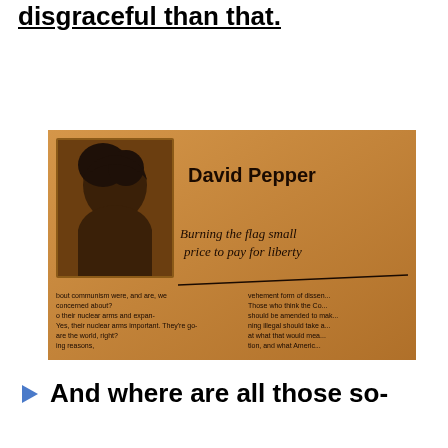Flag: You can't get much more disgraceful than that.
[Figure (photo): Photograph of a newspaper clipping featuring David Pepper's column titled 'Burning the flag small price to pay for liberty', with a headshot photo of David Pepper and partial column text visible.]
And where are all those so-